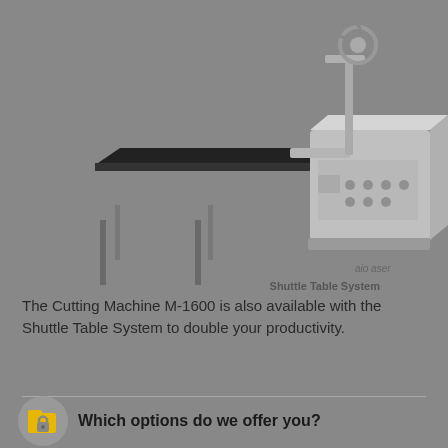[Figure (photo): A Cutting Machine M-1600 with a Shuttle Table System. The machine is gray/silver with a large flat black cutting table on legs extending to the left, and the main machine body with control panels on the right. A label 'Shuttle Table System' appears in the lower right of the image area. The background is a medium gray.]
The Cutting Machine M-1600 is also available with the Shuttle Table System to double your productivity.
Which options do we offer you?